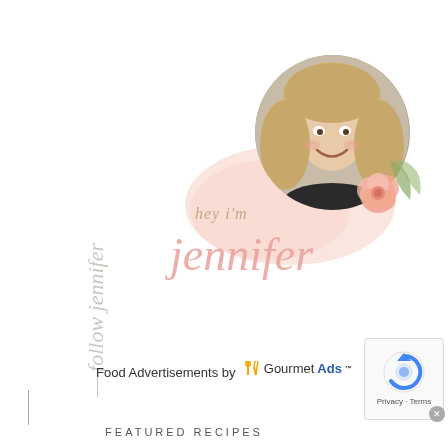[Figure (photo): Circular portrait photo of a smiling blonde woman, with a pink watercolor background wash, a pink rose and green leaf floral decoration]
hey i'm jennifer
— follow jennifer (vertical, rotated)
Food Advertisements by GourmetAds™
[Figure (logo): GourmetAds logo with fork icon]
[Figure (other): reCAPTCHA badge with Privacy and Terms links]
FEATURED RECIPES